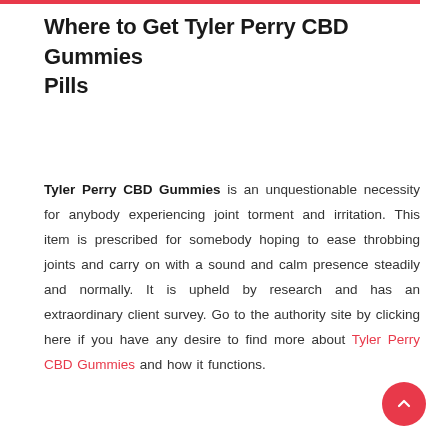Where to Get Tyler Perry CBD Gummies Pills
Tyler Perry CBD Gummies is an unquestionable necessity for anybody experiencing joint torment and irritation. This item is prescribed for somebody hoping to ease throbbing joints and carry on with a sound and calm presence steadily and normally. It is upheld by research and has an extraordinary client survey. Go to the authority site by clicking here if you have any desire to find more about Tyler Perry CBD Gummies and how it functions.